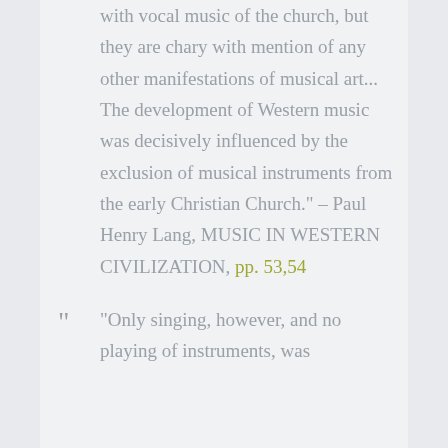with vocal music of the church, but they are chary with mention of any other manifestations of musical art... The development of Western music was decisively influenced by the exclusion of musical instruments from the early Christian Church." – Paul Henry Lang, MUSIC IN WESTERN CIVILIZATION, pp. 53,54
"Only singing, however, and no playing of instruments, was